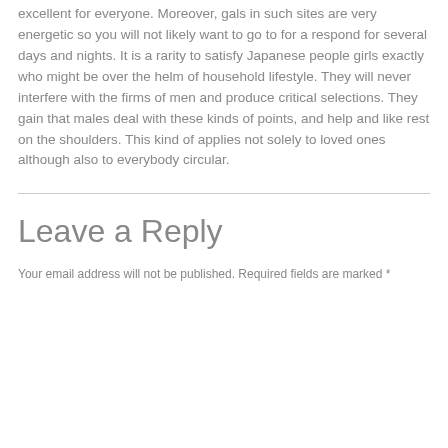excellent for everyone. Moreover, gals in such sites are very energetic so you will not likely want to go to for a respond for several days and nights. It is a rarity to satisfy Japanese people girls exactly who might be over the helm of household lifestyle. They will never interfere with the firms of men and produce critical selections. They gain that males deal with these kinds of points, and help and like rest on the shoulders. This kind of applies not solely to loved ones although also to everybody circular.
Leave a Reply
Your email address will not be published. Required fields are marked *